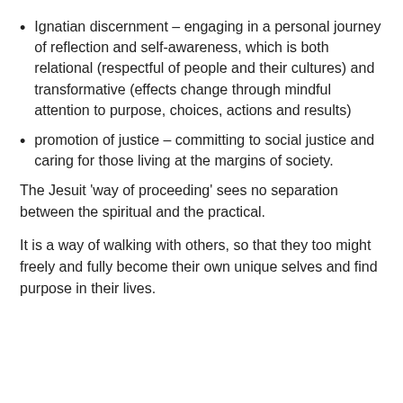Ignatian discernment – engaging in a personal journey of reflection and self-awareness, which is both relational (respectful of people and their cultures) and transformative (effects change through mindful attention to purpose, choices, actions and results)
promotion of justice – committing to social justice and caring for those living at the margins of society.
The Jesuit 'way of proceeding' sees no separation between the spiritual and the practical.
It is a way of walking with others, so that they too might freely and fully become their own unique selves and find purpose in their lives.